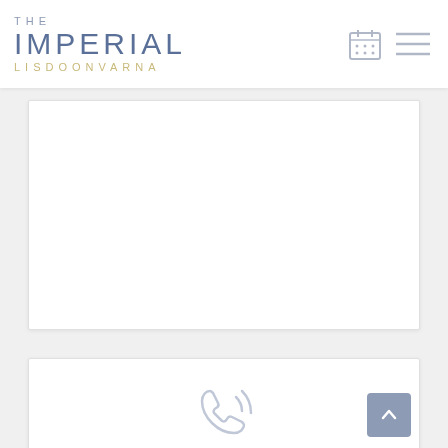[Figure (logo): The Imperial Lisdoonvarna hotel logo with calendar and hamburger menu icons]
[Figure (screenshot): White content card area (empty/image not loaded)]
[Figure (screenshot): Second white content card with a phone/contact icon visible at bottom, and a scroll-to-top button in bottom right corner]